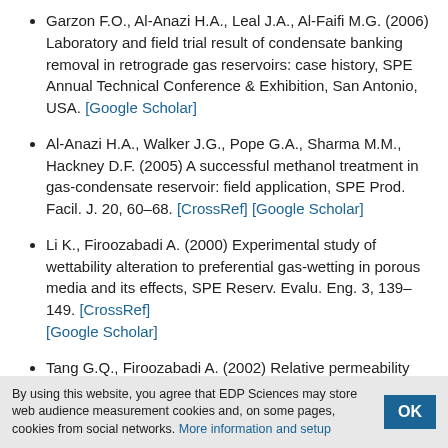Garzon F.O., Al-Anazi H.A., Leal J.A., Al-Faifi M.G. (2006) Laboratory and field trial result of condensate banking removal in retrograde gas reservoirs: case history, SPE Annual Technical Conference & Exhibition, San Antonio, USA. [Google Scholar]
Al-Anazi H.A., Walker J.G., Pope G.A., Sharma M.M., Hackney D.F. (2005) A successful methanol treatment in gas-condensate reservoir: field application, SPE Prod. Facil. J. 20, 60–68. [CrossRef] [Google Scholar]
Li K., Firoozabadi A. (2000) Experimental study of wettability alteration to preferential gas-wetting in porous media and its effects, SPE Reserv. Evalu. Eng. 3, 139–149. [CrossRef] [Google Scholar]
Tang G.Q., Firoozabadi A. (2002) Relative permeability modification in gas/liquid systems through wettability alteration to intermediate gas wetting, SPE Reserv. Evalu. Eng. 5, 427–436. [CrossRef] [Google Scholar]
Tang G.Q., Firoozabadi A. (2003) Wettability alteration to intermediate gas-wetting in porous media at elevated
By using this website, you agree that EDP Sciences may store web audience measurement cookies and, on some pages, cookies from social networks. More information and setup